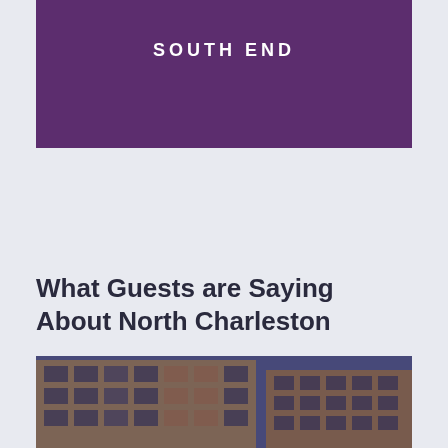[Figure (photo): Purple box with SOUTH END text label on a dark purple/navy background]
What Guests are Saying About North Charleston
[Figure (photo): Exterior photo of a modern multi-story apartment or hotel building with orange and brown facade panels, partially obscured by a dark purple overlay]